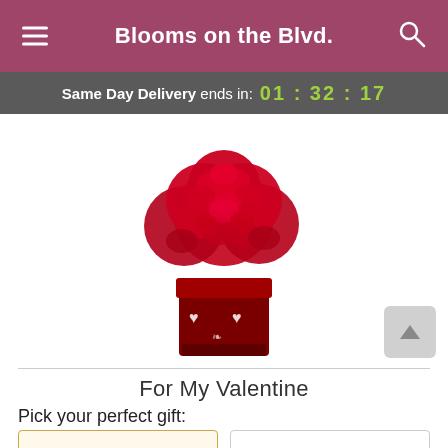Blooms on the Blvd.
Same Day Delivery ends in: 01 : 32 : 17
[Figure (photo): Red carnation bouquet arrangement in a red square vase with white heart decorations, product photo for 'For My Valentine']
For My Valentine
Pick your perfect gift: